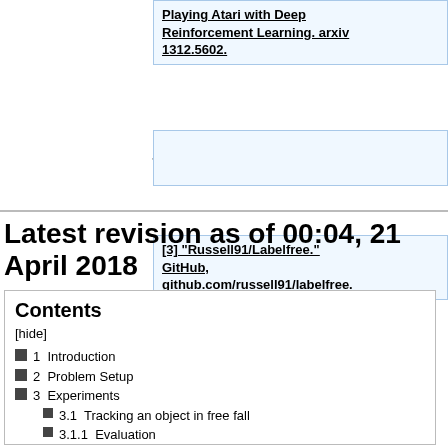Playing Atari with Deep Reinforcement Learning. arxiv 1312.5602.
[3] “Russell91/Labelfree.” GitHub, github.com/russell91/labelfree.
Latest revision as of 00:04, 21 April 2018
Contents
[hide]
1  Introduction
2  Problem Setup
3  Experiments
3.1  Tracking an object in free fall
3.1.1  Evaluation